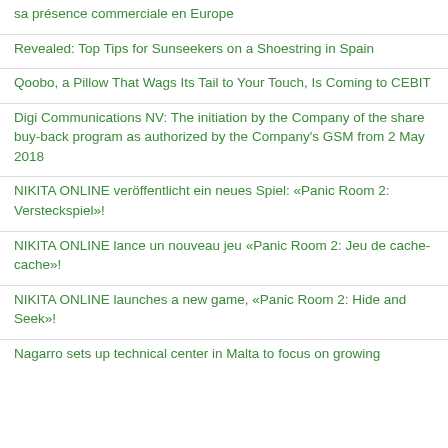sa présence commerciale en Europe
Revealed: Top Tips for Sunseekers on a Shoestring in Spain
Qoobo, a Pillow That Wags Its Tail to Your Touch, Is Coming to CEBIT
Digi Communications NV: The initiation by the Company of the share buy-back program as authorized by the Company's GSM from 2 May 2018
NIKITA ONLINE veröffentlicht ein neues Spiel: «Panic Room 2: Versteckspiel»!
NIKITA ONLINE lance un nouveau jeu «Panic Room 2: Jeu de cache-cache»!
NIKITA ONLINE launches a new game, «Panic Room 2: Hide and Seek»!
Nagarro sets up technical center in Malta to focus on growing